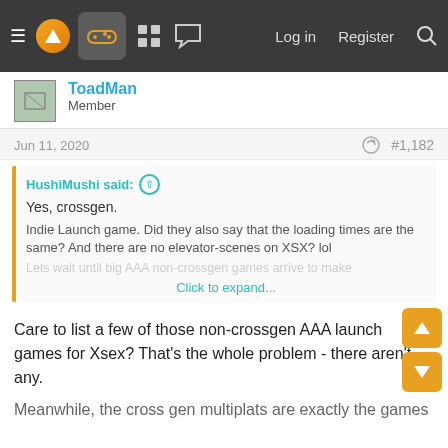≡ [logo] [gamepad] [grid] [chat]   Log in   Register  🔍
ToadMan
Member
Jun 11, 2020   #1,182
HushiMushi said: ↑
Yes, crossgen.
Indie Launch game. Did they also say that the loading times are the same? And there are no elevator-scenes on XSX? lol
Lets wait until big AAA non-crossgen games arrive to make...
Click to expand...
Care to list a few of those non-crossgen AAA launch games for Xsex? That's the whole problem - there aren't any.
Meanwhile, the cross gen multiplats are exactly the games...